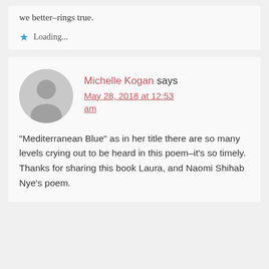we better–rings true.
Loading...
Michelle Kogan says
May 28, 2018 at 12:53 am
“Mediterranean Blue” as in her title there are so many levels crying out to be heard in this poem–it’s so timely. Thanks for sharing this book Laura, and Naomi Shihab Nye’s poem.